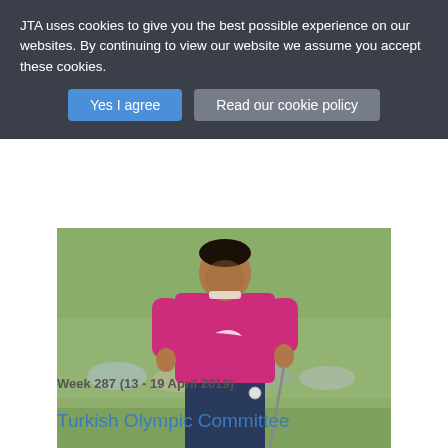JTA uses cookies to give you the best possible experience on our websites. By continuing to view our website we assume you accept these cookies.
Yes I agree | Read our cookie policy
[Figure (photo): Golfer wearing a pink/magenta Nike polo shirt and navy trousers, holding a golf club, standing on a golf course with green grass and blurred crowd in background.]
Week 287 (13 - 19 April 2019)
Turkish Olympic Committee